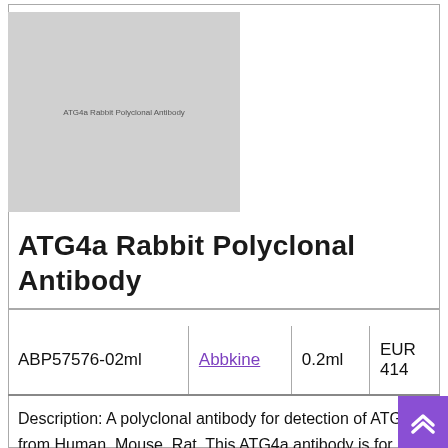[Figure (photo): Product image placeholder for ATG4a Rabbit Polyclonal Antibody with label text]
ATG4a Rabbit Polyclonal Antibody
|  |  |  |  |
| --- | --- | --- | --- |
| ABP57576-02ml | Abbkine | 0.2ml | EUR 414 |
Description: A polyclonal antibody for detection of ATG4a from Human, Mouse, Rat. This ATG4a antibody is for IHC-P. It is affinity-purified from rabbit serum by affinity-chromatography using the specific immunogenand is unconjugated. The antibody is produced in rabbit by using as an